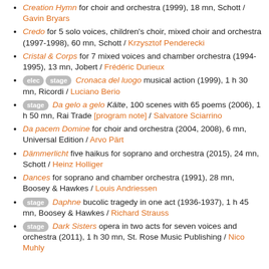Creation Hymn for choir and orchestra (1999), 18 mn, Schott / Gavin Bryars
Credo for 5 solo voices, children's choir, mixed choir and orchestra (1997-1998), 60 mn, Schott / Krzysztof Penderecki
Cristal & Corps for 7 mixed voices and chamber orchestra (1994-1995), 13 mn, Jobert / Frédéric Durieux
[elec] [stage] Cronaca del luogo musical action (1999), 1 h 30 mn, Ricordi / Luciano Berio
[stage] Da gelo a gelo Kälte, 100 scenes with 65 poems (2006), 1 h 50 mn, Rai Trade [program note] / Salvatore Sciarrino
Da pacem Domine for choir and orchestra (2004, 2008), 6 mn, Universal Edition / Arvo Pärt
Dämmerlicht five haikus for soprano and orchestra (2015), 24 mn, Schott / Heinz Holliger
Dances for soprano and chamber orchestra (1991), 28 mn, Boosey & Hawkes / Louis Andriessen
[stage] Daphne bucolic tragedy in one act (1936-1937), 1 h 45 mn, Boosey & Hawkes / Richard Strauss
[stage] Dark Sisters opera in two acts for seven voices and orchestra (2011), 1 h 30 mn, St. Rose Music Publishing / Nico Muhly